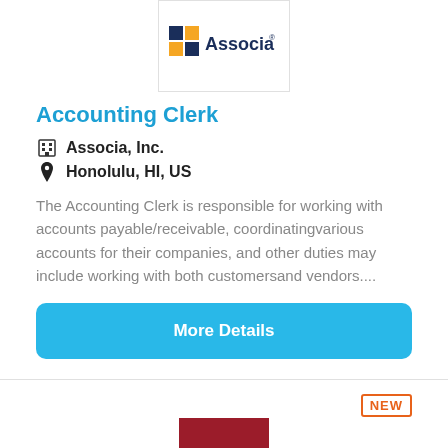[Figure (logo): Associa company logo with colored grid icon and 'Associa' text]
Accounting Clerk
Associa, Inc.
Honolulu, HI, US
The Accounting Clerk is responsible for working with accounts payable/receivable, coordinatingvarious accounts for their companies, and other duties may include working with both customersand vendors....
More Details
[Figure (logo): Robert Half company logo — dark red square with white 'rh' letters]